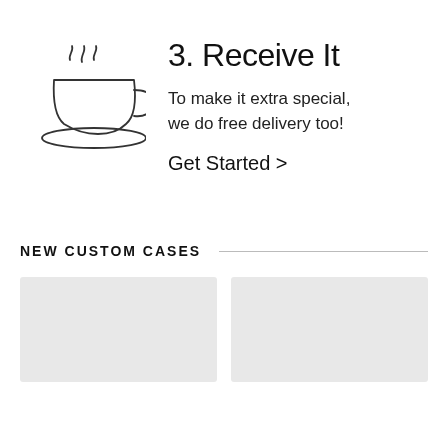[Figure (illustration): Line drawing of a steaming coffee cup with saucer, showing three wavy steam lines rising above]
3. Receive It
To make it extra special, we do free delivery too!
Get Started >
NEW CUSTOM CASES
[Figure (photo): Light grey placeholder box for product image 1]
[Figure (photo): Light grey placeholder box for product image 2]